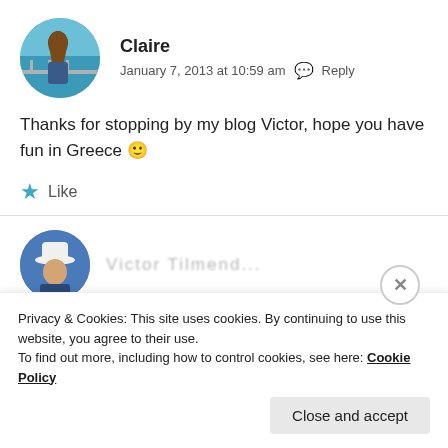[Figure (photo): Circular avatar photo of Claire, a woman with long hair standing on a balcony overlooking the sea]
Claire
January 7, 2013 at 10:59 am  Reply
Thanks for stopping by my blog Victor, hope you have fun in Greece 🙂
★ Like
[Figure (photo): Circular avatar photo of a second commenter wearing a hat]
Privacy & Cookies: This site uses cookies. By continuing to use this website, you agree to their use.
To find out more, including how to control cookies, see here: Cookie Policy
Close and accept